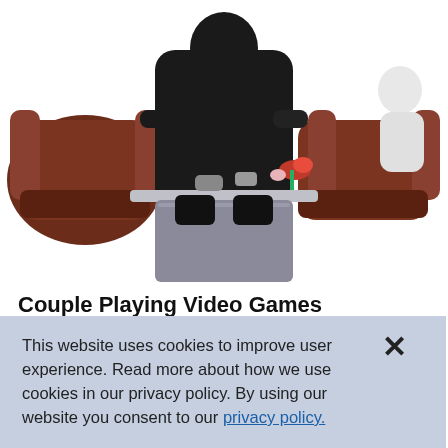[Figure (photo): A bobblehead figurine depicting a couple sitting on a brown couch playing video games, with a grey table in front holding controllers and items.]
Couple Playing Video Games Bobblehead
by Bobbleheads.com
★★★★☆  2 Reviews
This website uses cookies to improve user experience. Read more about how we use cookies in our privacy policy. By using our website you consent to our privacy policy.